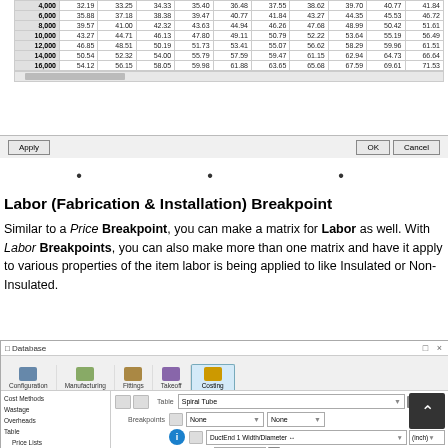[Figure (screenshot): Spreadsheet/dialog table showing numeric data rows with values for sizes 4000 through 16000, columns of decimal numbers, and Apply/OK/Cancel buttons at bottom]
• • •
Labor (Fabrication & Installation) Breakpoint
Similar to a Price Breakpoint, you can make a matrix for Labor as well. With Labor Breakpoints, you can also make more than one matrix and have it apply to various properties of the item labor is being applied to like Insulated or Non-Insulated.
[Figure (screenshot): Database dialog window showing Configuration, Manufacturing, Fittings, Takeoff, and Costing tabs with Costing tab active. Left sidebar shows Cost Methods, Wastage, Overheads, Table (Price Lists, Fabrication Times, Installation Times, Labour Rates). Right panel shows Table: Spiral Tube, Breakpoints: None/None, DuctEnd 1 Width/Diameter and inch fields, Adjust Code field.]